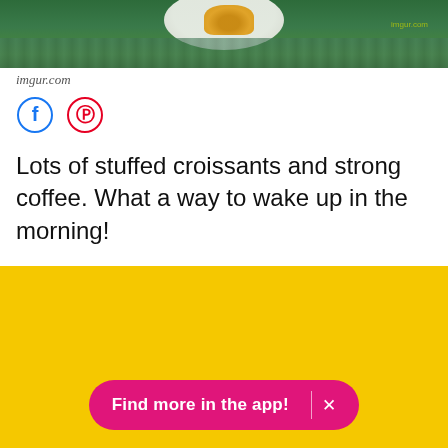[Figure (photo): Partial view of a plate with stuffed croissants on a green wooden table surface, viewed from above.]
imgur.com
[Figure (infographic): Facebook and Pinterest social share icons — circular outline buttons with Facebook 'f' logo in blue and Pinterest 'p' logo in red.]
Lots of stuffed croissants and strong coffee. What a way to wake up in the morning!
[Figure (other): Yellow background section with a pink rounded pill-shaped button reading 'Find more in the app!' with an X close button.]